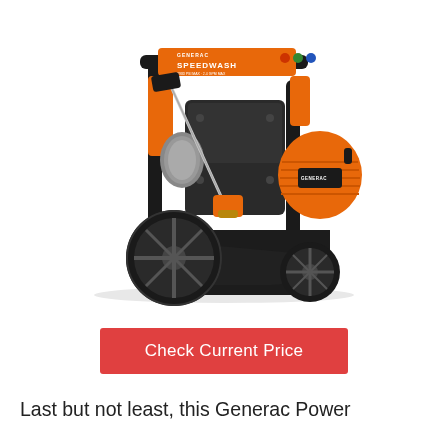[Figure (photo): Generac SpeedWash pressure washer — orange and black gas-powered unit on wheels with handle frame, engine visible on right side with orange pull-start cover, wand/lance attached to left side, black plastic base, photographed on white background]
Check Current Price
Last but not least, this Generac Power